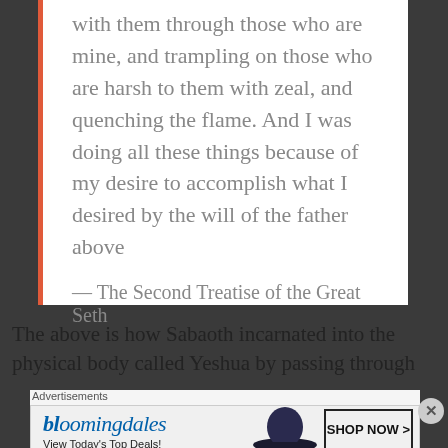with them through those who are mine, and trampling on those who are harsh to them with zeal, and quenching the flame. And I was doing all these things because of my desire to accomplish what I desired by the will of the father above
— The Second Treatise of the Great Seth
The above is how Sabaoth incarnated into the physical body called Yeshua by passing through
[Figure (other): Bloomingdale's advertisement banner: logo text 'bloomingdales', tagline 'View Today's Top Deals!', image of woman with large hat, 'SHOP NOW >' button]